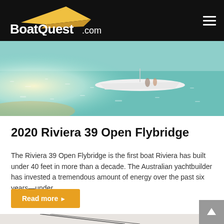BoatQuest.com
[Figure (photo): Aerial or wide-angle photo of a white boat on shallow turquoise sparkling water near a sandy beach, with a couple of people visible near the boat.]
2020 Riviera 39 Open Flybridge
The Riviera 39 Open Flybridge is the first boat Riviera has built under 40 feet in more than a decade. The Australian yachtbuilder has invested a tremendous amount of energy over the past six years—under...
Read more ▶
[Figure (photo): Partial view of a boat hull or mast lines against a pale sky, cropped at the bottom of the page.]